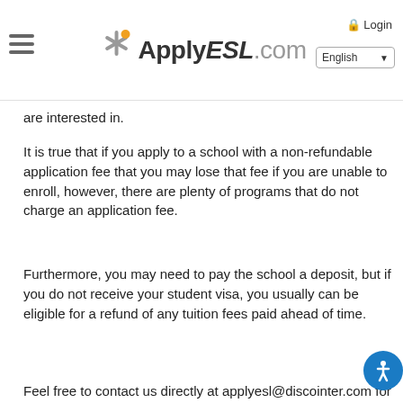ApplyESL.com | Login | English
are interested in.
It is true that if you apply to a school with a non-refundable application fee that you may lose that fee if you are unable to enroll, however, there are plenty of programs that do not charge an application fee.
Furthermore, you may need to pay the school a deposit, but if you do not receive your student visa, you usually can be eligible for a refund of any tuition fees paid ahead of time.
Feel free to contact us directly at applyesl@discointer.com for more questions.
Chris
ApplyESL.com Study Advisor